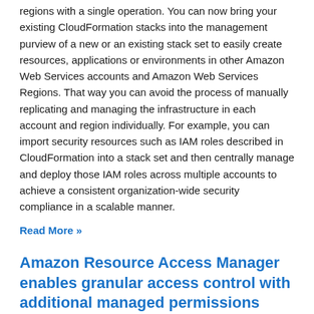regions with a single operation. You can now bring your existing CloudFormation stacks into the management purview of a new or an existing stack set to easily create resources, applications or environments in other Amazon Web Services accounts and Amazon Web Services Regions. That way you can avoid the process of manually replicating and managing the infrastructure in each account and region individually. For example, you can import security resources such as IAM roles described in CloudFormation into a stack set and then centrally manage and deploy those IAM roles across multiple accounts to achieve a consistent organization-wide security compliance in a scalable manner.
Read More »
Amazon Resource Access Manager enables granular access control with additional managed permissions
Posted On: Jul 28, 2021
Amazon Resource Access Manager (RAM) helps you securely share